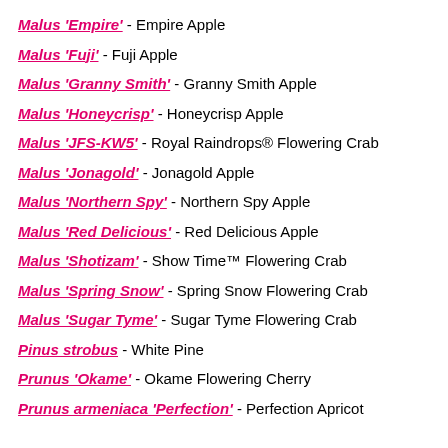Malus 'Empire' - Empire Apple
Malus 'Fuji' - Fuji Apple
Malus 'Granny Smith' - Granny Smith Apple
Malus 'Honeycrisp' - Honeycrisp Apple
Malus 'JFS-KW5' - Royal Raindrops® Flowering Crab
Malus 'Jonagold' - Jonagold Apple
Malus 'Northern Spy' - Northern Spy Apple
Malus 'Red Delicious' - Red Delicious Apple
Malus 'Shotizam' - Show Time™ Flowering Crab
Malus 'Spring Snow' - Spring Snow Flowering Crab
Malus 'Sugar Tyme' - Sugar Tyme Flowering Crab
Pinus strobus - White Pine
Prunus 'Okame' - Okame Flowering Cherry
Prunus armeniaca 'Perfection' - Perfection Apricot